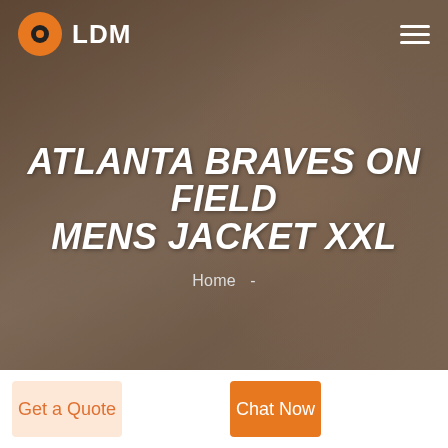[Figure (screenshot): Hero section of LDM website showing a smiling man in a dark grayscale background with orange tint overlay]
LDM
ATLANTA BRAVES ON FIELD MENS JACKET XXL
Home  -
Get a Quote
Chat Now